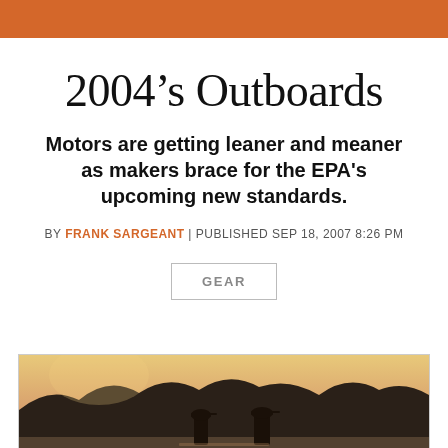2004's Outboards
Motors are getting leaner and meaner as makers brace for the EPA's upcoming new standards.
BY FRANK SARGEANT | PUBLISHED SEP 18, 2007 8:26 PM
GEAR
[Figure (photo): Outdoor/nature photo showing silhouettes of people wearing caps against a warm sunset sky with trees in background]